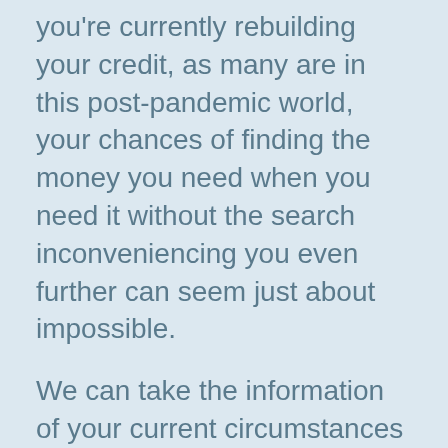you're currently rebuilding your credit, as many are in this post-pandemic world, your chances of finding the money you need when you need it without the search inconveniencing you even further can seem just about impossible.
We can take the information of your current circumstances and help you compare same day loans from direct lenders, thereby taking the hardest part of the job finding a lender who will be most likely to approve you for the loan amount and term you need and eliminating that stress factor for you altogether.
Our Process